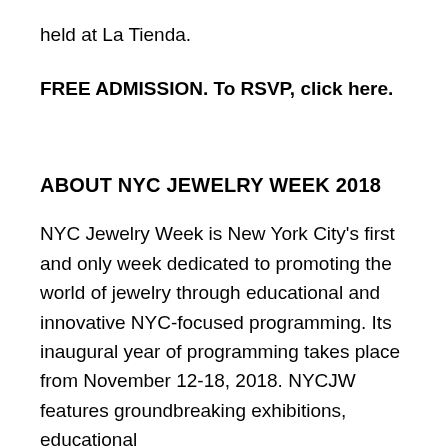held at La Tienda.
FREE ADMISSION. To RSVP, click here.
ABOUT NYC JEWELRY WEEK 2018
NYC Jewelry Week is New York City’s first and only week dedicated to promoting the world of jewelry through educational and innovative NYC-focused programming. Its inaugural year of programming takes place from November 12-18, 2018. NYCJW features groundbreaking exhibitions, educational